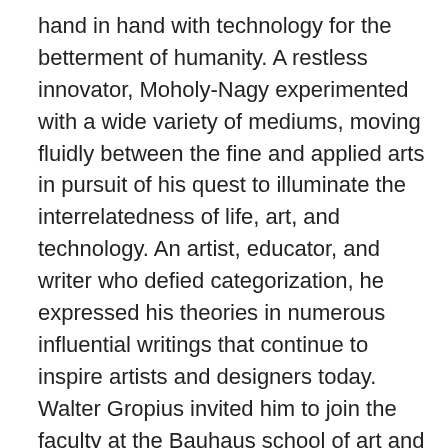hand in hand with technology for the betterment of humanity. A restless innovator, Moholy-Nagy experimented with a wide variety of mediums, moving fluidly between the fine and applied arts in pursuit of his quest to illuminate the interrelatedness of life, art, and technology. An artist, educator, and writer who defied categorization, he expressed his theories in numerous influential writings that continue to inspire artists and designers today. Walter Gropius invited him to join the faculty at the Bauhaus school of art and design, where Moholy-Nagy taught in Weimar and Dessau in the 1920s. In 1937, he was appointed to head the New Bauhaus in Chicago; he later opened his own School of Design there (subsequently renamed the Institute of Design), which today is part of the Illinois Institute of Technology. Among Moholy-Nagy's radical innovations were his experiments with cameraless photographs (which he